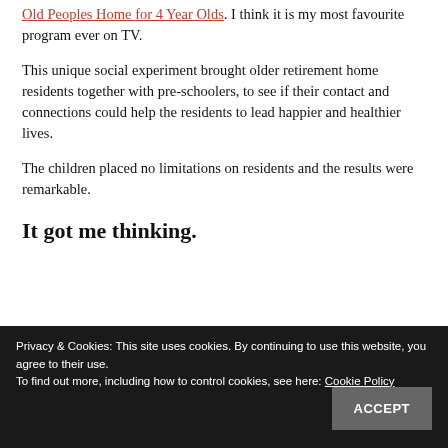Australia called Old Peoples Home for 4 Year Olds. I think it is my most favourite program ever on TV.
This unique social experiment brought older retirement home residents together with pre-schoolers, to see if their contact and connections could help the residents to lead happier and healthier lives.
The children placed no limitations on residents and the results were remarkable.
It got me thinking.
Privacy & Cookies: This site uses cookies. By continuing to use this website, you agree to their use. To find out more, including how to control cookies, see here: Cookie Policy